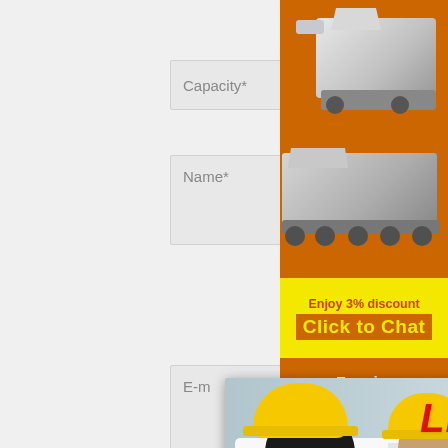Capacity*
Name*
E-m
Cou
Tel
Messenger
[Figure (screenshot): Live chat popup with workers in yellow hard hats. Bold red italic text 'LIVE CHAT', subtitle 'Click for a Free Consultation', red 'Chat now' button and dark 'Chat later' button.]
[Figure (screenshot): Right sidebar with orange background showing industrial machines (crusher/mining equipment), yellow discount banner saying 'Enjoy 3% discount' and 'Click to Chat', Enquiry section, and email limingjlmofen@sina.com]